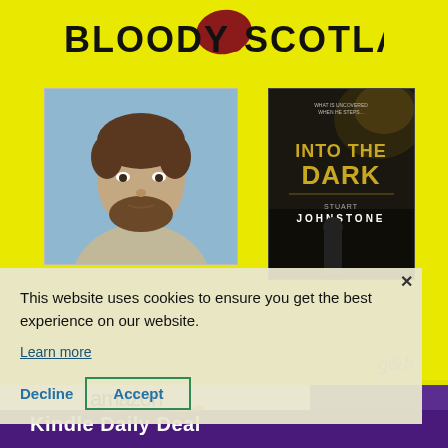BLOODY SCOTLAND
[Figure (photo): Author headshot photo - man with beard against outdoor background]
[Figure (photo): Book cover: INTO THE DARK by Stuart Johnstone, dark background with yellow title text]
This website uses cookies to ensure you get the best experience on our website.
Learn more
Decline
Accept
[Figure (logo): Amazon logo with smile]
Kindle Daily Deal